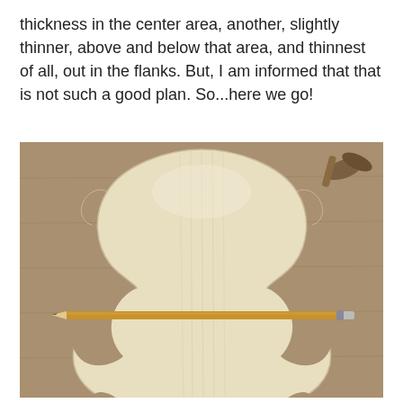thickness in the center area, another, slightly thinner, above and below that area, and thinnest of all, out in the flanks. But, I am informed that that is not such a good plan. So...here we go!
[Figure (photo): A violin top plate (spruce) being worked on, laid on a wooden workbench. The plate shows the characteristic violin shape with upper and lower bouts and C-bout waist cutouts. A pencil is placed horizontally across the waist area of the plate. Woodworking tools are visible in the upper right corner.]